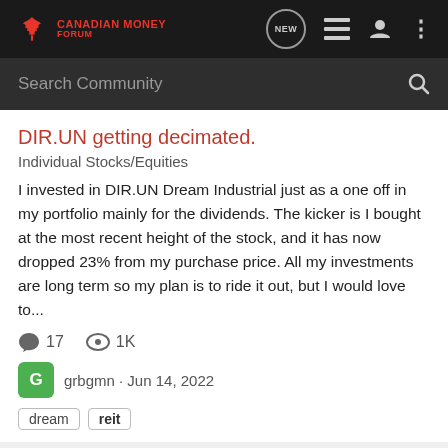Canadian Money Forum
DIR.UN getting decimated.
Individual Stocks/Equities
I invested in DIR.UN Dream Industrial just as a one off in my portfolio mainly for the dividends. The kicker is I bought at the most recent height of the stock, and it has now dropped 23% from my purchase price. All my investments are long term so my plan is to ride it out, but I would love to...
17 comments · 1K views · grbgmn · Jun 14, 2022
dream
reit
Borrow money to invest in REIT inside non register account